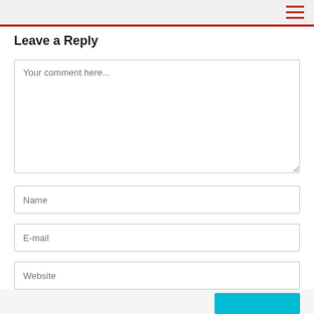Leave a Reply
Your comment here...
Name
E-mail
Website